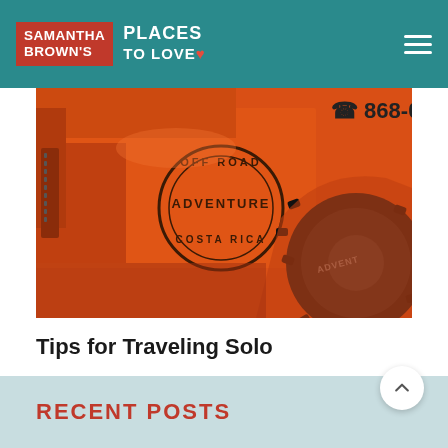SAMANTHA BROWN'S PLACES TO LOVE
[Figure (photo): Close-up photo of an orange off-road vehicle / jeep with text reading 'OFF ROAD ADVENTURE COSTA RICA' printed in a circular stamp on the side, and a partial phone number '868-0' visible in the top right. A large black tire is visible on the right side.]
Tips for Traveling Solo
Traveling solo is an exciting opportunity to enjoy the world in your own unique way....
RECENT POSTS